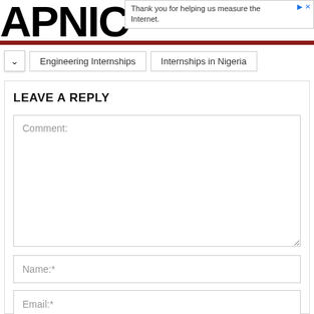APNIC
Thank you for helping us measure the Internet.
Engineering Internships
Internships in Nigeria
LEAVE A REPLY
Comment:
Name:*
Email:*